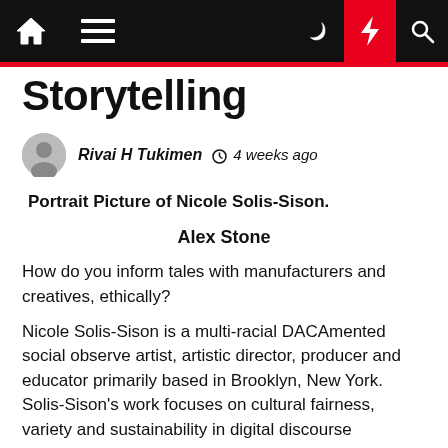Navigation bar with home, menu, moon, flash, and search icons
Storytelling
Rivai H Tukimen  4 weeks ago
Portrait Picture of Nicole Solis-Sison.
Alex Stone
How do you inform tales with manufacturers and creatives, ethically?
Nicole Solis-Sison is a multi-racial DACAmented social observe artist, artistic director, producer and educator primarily based in Brooklyn, New York. Solis-Sison's work focuses on cultural fairness, variety and sustainability in digital discourse